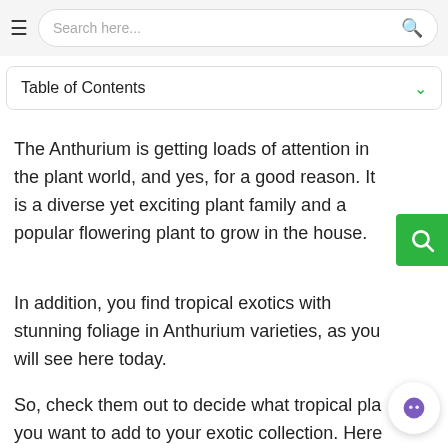Search here...
Table of Contents
The Anthurium is getting loads of attention in the plant world, and yes, for a good reason. It is a diverse yet exciting plant family and a popular flowering plant to grow in the house.
In addition, you find tropical exotics with stunning foliage in Anthurium varieties, as you will see here today.
So, check them out to decide what tropical pla you want to add to your exotic collection. Here are